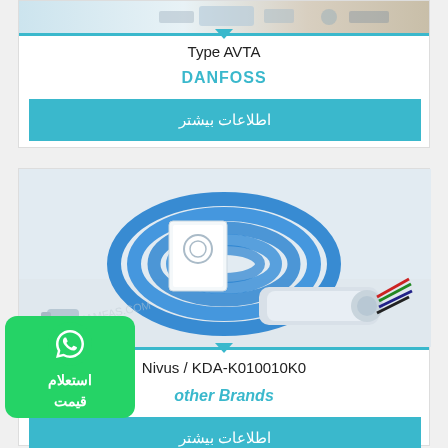[Figure (photo): Top portion of product card showing a valve or industrial component image (partially visible)]
Type AVTA
DANFOSS
اطلاعات بیشتر
[Figure (photo): Nivus KDA-K010010K0 sensor with blue cable coiled, white sensor body with colored wires at end]
Nivus / KDA-K010010K0
other Brands
اطلاعات بیشتر
[Figure (other): WhatsApp inquiry badge with icon and Persian text استعلام قیمت]